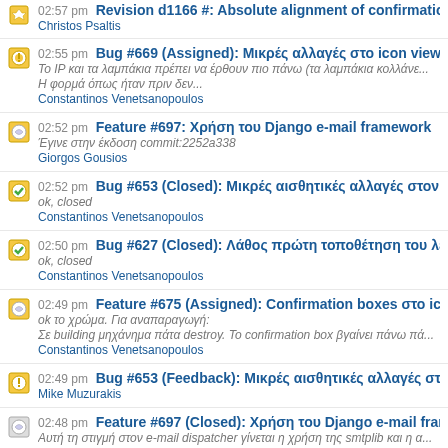02:55 pm Bug #669 (Assigned): Μικρές αλλαγές στο icon view layout
Το IP και τα λαμπάκια πρέπει να έρθουν πιο πάνω (τα λαμπάκια κολλάνε...
Η φορμά όπως ήταν πριν δεν...
Constantinos Venetsanopoulos
02:52 pm Feature #697: Χρήση του Django e-mail framework
Έγινε στην έκδοση commit:2252a338
Giorgos Gousios
02:52 pm Bug #653 (Closed): Μικρές αισθητικές αλλαγές στον "Create Wiz...
ok, closed
Constantinos Venetsanopoulos
02:50 pm Bug #627 (Closed): Λάθος πρώτη τοποθέτηση του λευκού pane...
ok, closed
Constantinos Venetsanopoulos
02:49 pm Feature #675 (Assigned): Confirmation boxes στο icon και single...
ok το χρώμα. Για αναπαραγωγή:
Σε building μηχάνημα πάτα destroy. Το confirmation box βγαίνει πάνω πά...
Constantinos Venetsanopoulos
02:49 pm Bug #653 (Feedback): Μικρές αισθητικές αλλαγές στον "Create...
Mike Muzurakis
02:48 pm Feature #697 (Closed): Χρήση του Django e-mail framework
Αυτή τη στιγμή στον e-mail dispatcher γίνεται η χρήση της smtplib και η α...
Faidon Liambotis
02:47 pm Bug #669 (Feedback): Μικρές αλλαγές στο icon view layout
Αυτό έχει γίνει έτσι γιατί όταν κάνεις rename ένα μηχάνημα η φόρμα σι...